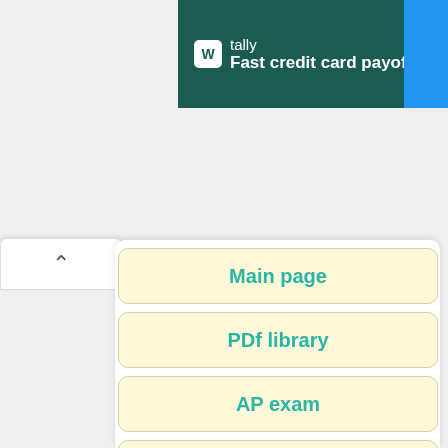[Figure (screenshot): Tally ad banner with green background showing brand name and 'Fast credit card payoff' tagline]
Main page
PDf library
AP exam
SAT exam
Test Prep
Biology
Chemistry
Geography